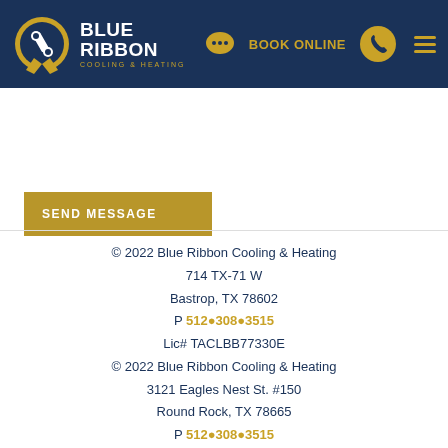[Figure (logo): Blue Ribbon Cooling & Heating logo with badge/wrench icon and navigation bar showing Book Online link, phone icon, and hamburger menu on dark navy background]
[Figure (other): Gold 'SEND MESSAGE' button]
© 2022 Blue Ribbon Cooling & Heating
714 TX-71 W
Bastrop, TX 78602
P 512•308•3515
Lic# TACLBB77330E
© 2022 Blue Ribbon Cooling & Heating
3121 Eagles Nest St. #150
Round Rock, TX 78665
P 512•308•3515
Lic# TACLBB77330E